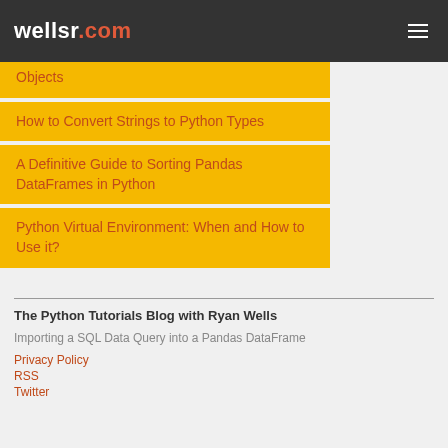wellsr.com
Objects
How to Convert Strings to Python Types
A Definitive Guide to Sorting Pandas DataFrames in Python
Python Virtual Environment: When and How to Use it?
The Python Tutorials Blog with Ryan Wells
Importing a SQL Data Query into a Pandas DataFrame
Privacy Policy
RSS
Twitter